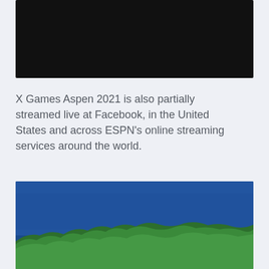[Figure (photo): Dark/black photo at top of page, content not visible]
X Games Aspen 2021 is also partially streamed live at Facebook, in the United States and across ESPN's online streaming services around the world.
[Figure (photo): Aerial photo of a forested island or peninsula surrounded by deep blue water/ocean]